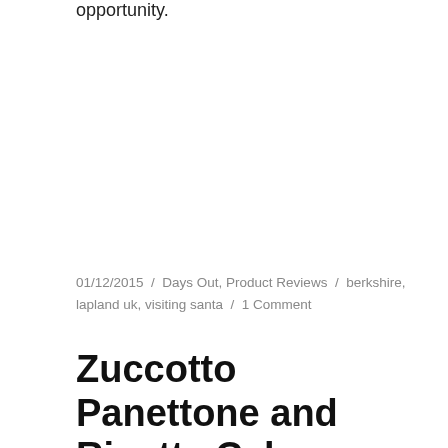opportunity.
01/12/2015 / Days Out, Product Reviews / berkshire, lapland uk, visiting santa / 1 Comment
Zuccotto Panettone and Ricotta Cake